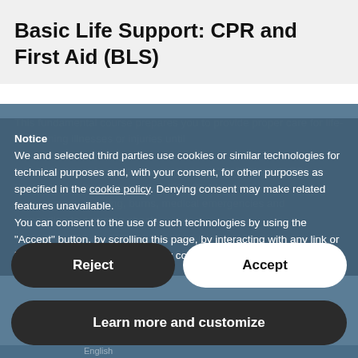Basic Life Support: CPR and First Aid (BLS)
This fundamental course prepares you to provide proper care for life-threatening illnesses or injuries until
Notice
We and selected third parties use cookies or similar technologies for technical purposes and, with your consent, for other purposes as specified in the cookie policy. Denying consent may make related features unavailable.
You can consent to the use of such technologies by using the "Accept" button, by scrolling this page, by interacting with any link or button outside of this notice or by continuing to browse otherwise.
Reject
Accept
Learn more and customize